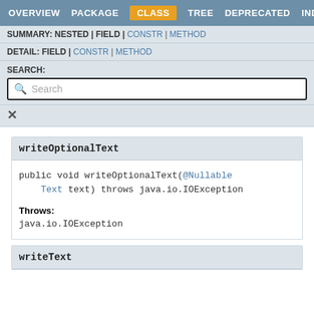OVERVIEW  PACKAGE  CLASS  TREE  DEPRECATED  INDEX
SUMMARY: NESTED | FIELD | CONSTR | METHOD
DETAIL: FIELD | CONSTR | METHOD
SEARCH:
Search
writeOptionalText
public void writeOptionalText(@Nullable Text text) throws java.io.IOException
Throws: java.io.IOException
writeText